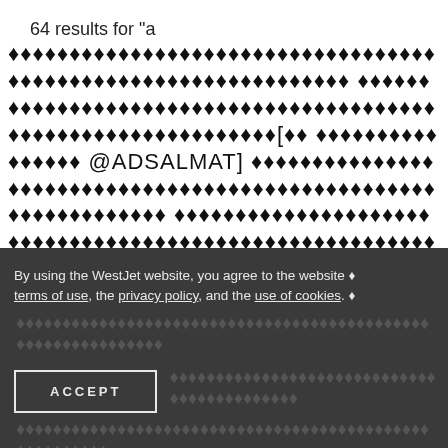64 results for "a
🔷🔷🔷🔷🔷🔷🔷🔷🔷🔷🔷🔷🔷🔷🔷🔷🔷🔷🔷🔷🔷🔷🔷🔷🔷🔷🔷🔷🔷🔷🔷🔷🔷🔷🔷🔷🔷🔷🔷🔷🔷🔷🔷🔷🔷🔷🔷🔷🔷🔷🔷🔷🔷🔷🔷🔷🔷🔷🔷🔷🔷🔷[🔷🔷🔷🔷🔷🔷🔷🔷🔷🔷🔷🔷🔷🔷🔷@ADSALMAT]🔷🔷🔷🔷🔷🔷🔷🔷🔷🔷🔷🔷🔷🔷🔷🔷🔷🔷🔷🔷🔷🔷🔷🔷🔷🔷🔷🔷🔷🔷🔷🔷🔷🔷🔷🔷🔷🔷🔷🔷🔷🔷🔷🔷🔷🔷🔷🔷🔷🔷🔷🔷🔷🔷🔷🔷🔷🔷🔷🔷🔷🔷🔷🔷🔷🔷🔷🔷🔷🔷🔷🔷🔷🔷🔷🔷🔷🔷🔷🔷🔷🔷🔷🔷🔷🔷🔷🔷🔷
By using the WestJet website, you agree to the website terms of use, the privacy policy, and the use of cookies.
ACCEPT